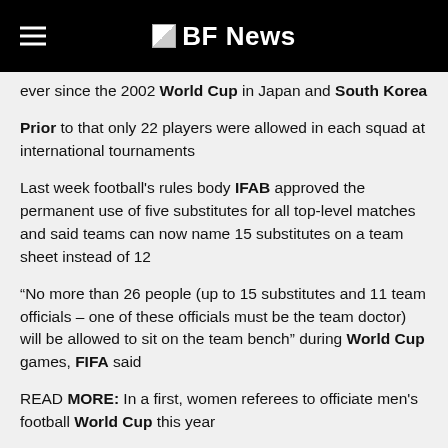BF News
ever since the 2002 World Cup in Japan and South Korea
Prior to that only 22 players were allowed in each squad at international tournaments
Last week football's rules body IFAB approved the permanent use of five substitutes for all top-level matches and said teams can now name 15 substitutes on a team sheet instead of 12
“No more than 26 people (up to 15 substitutes and 11 team officials – one of these officials must be the team doctor) will be allowed to sit on the team bench” during World Cup games, FIFA said
READ MORE: In a first, women referees to officiate men's football World Cup this year